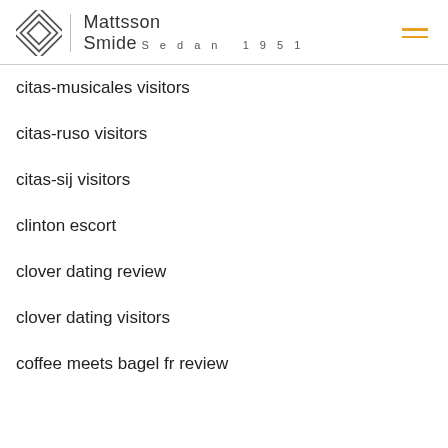Mattsson Smide | Sedan 1951
citas-musicales visitors
citas-ruso visitors
citas-sij visitors
clinton escort
clover dating review
clover dating visitors
coffee meets bagel fr review